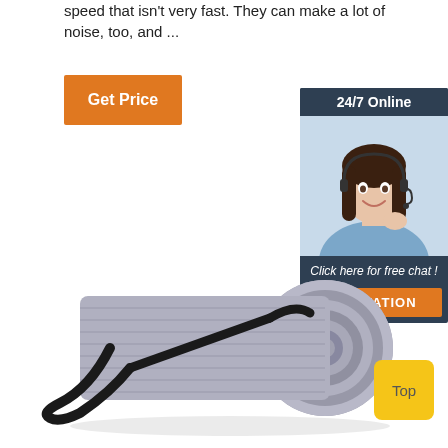speed that isn't very fast. They can make a lot of noise, too, and ...
[Figure (other): Orange 'Get Price' button]
[Figure (other): Customer service chat widget with '24/7 Online' header, photo of woman with headset, 'Click here for free chat!' text, and orange 'QUOTATION' button]
[Figure (photo): Rolled gray yoga mat with black carrying strap]
[Figure (other): Yellow 'Top' button]